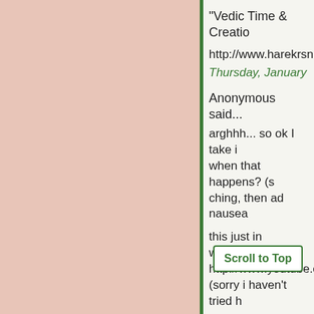"Vedic Time & Creatio
http://www.harekrsna.
Thursday, January
Anonymous said...
arghhh... so ok I take i when that happens? (s ching, then ad nausea
this just in w/accuracy http://www.youtube.co (sorry i haven't tried h
Shirl
(hey, 3rd time is a cha